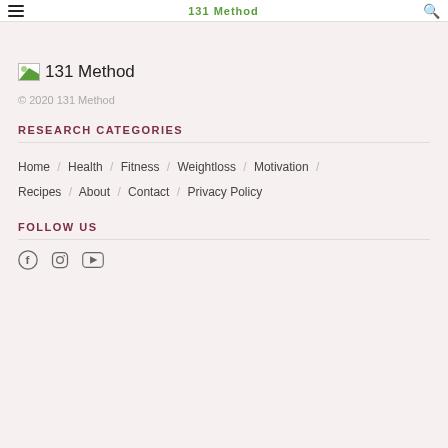131 Method
[Figure (logo): 131 Method logo with image placeholder and text]
© 2020 131 Method
RESEARCH CATEGORIES
Home / Health / Fitness / Weightloss / Motivation / Recipes / About / Contact / Privacy Policy
FOLLOW US
[Figure (infographic): Social media icons: Facebook, Instagram, YouTube]